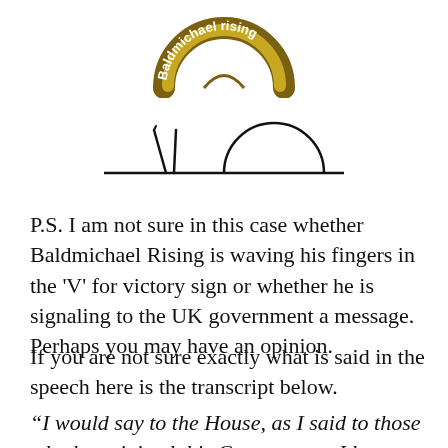[Figure (logo): Baldmichael rising logo — arched brown/gold band with white text 'Baldmichael rising' curved along the top of a rising arc shape]
[Figure (illustration): Simple line drawing: a horizontal baseline with a V-shape (two fingers raised) on the left and a semicircle (rising) on the right, representing 'Baldmichael Rising']
P.S. I am not sure in this case whether Baldmichael Rising is waving his fingers in the 'V' for victory sign or whether he is signaling to the UK government a message. Perhaps you may have an opinion.
If you are not sure exactly what is said in the speech here is the transcript below.
“I would say to the House, as I said to those who have joined this Government: I have nothing to